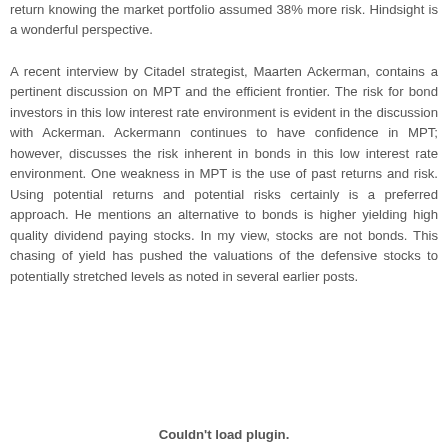return knowing the market portfolio assumed 38% more risk. Hindsight is a wonderful perspective.
A recent interview by Citadel strategist, Maarten Ackerman, contains a pertinent discussion on MPT and the efficient frontier. The risk for bond investors in this low interest rate environment is evident in the discussion with Ackerman. Ackermann continues to have confidence in MPT; however, discusses the risk inherent in bonds in this low interest rate environment. One weakness in MPT is the use of past returns and risk. Using potential returns and potential risks certainly is a preferred approach. He mentions an alternative to bonds is higher yielding high quality dividend paying stocks. In my view, stocks are not bonds. This chasing of yield has pushed the valuations of the defensive stocks to potentially stretched levels as noted in several earlier posts.
Couldn't load plugin.